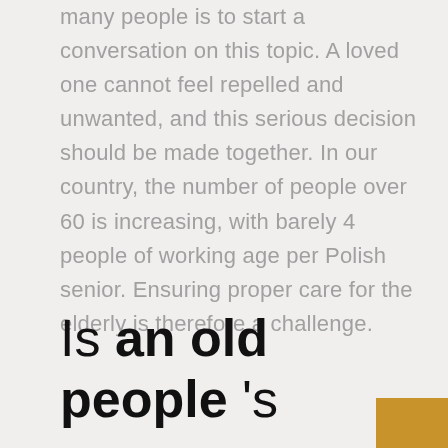many people is to start a conversation on this topic. A loved one cannot feel repelled and unwanted, and this serious decision should be made together. In our country, the number of people over 60 is increasing, with barely 4 people of working age per Polish senior. Ensuring proper care for the elderly is therefore a challenge.
Is an old people's